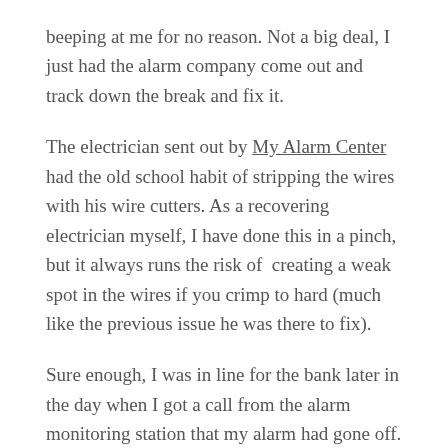beeping at me for no reason. Not a big deal, I just had the alarm company come out and track down the break and fix it.
The electrician sent out by My Alarm Center had the old school habit of stripping the wires with his wire cutters. As a recovering electrician myself, I have done this in a pinch, but it always runs the risk of creating a weak spot in the wires if you crimp to hard (much like the previous issue he was there to fix).
Sure enough, I was in line for the bank later in the day when I got a call from the alarm monitoring station that my alarm had gone off. I went home, discovered the bad splices and just re-did them myself. Irritating, but it could be worse. Yes... yes it could.